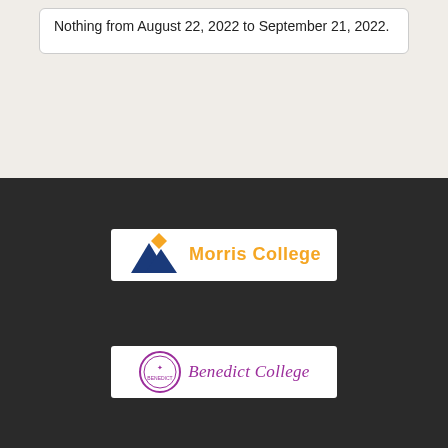Nothing from August 22, 2022 to September 21, 2022.
[Figure (logo): Morris College logo with blue and gold mountain shapes and orange 'Morris College' text]
[Figure (logo): Benedict College logo with purple circular seal and purple italic 'Benedict College' text]